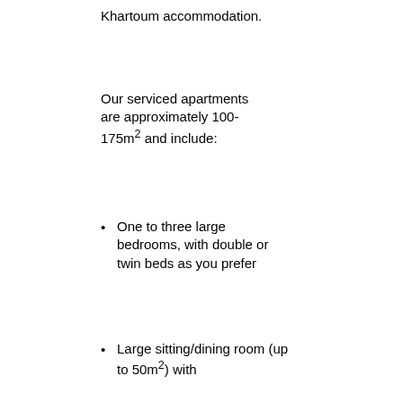Khartoum accommodation.
Our serviced apartments are approximately 100-175m² and include:
One to three large bedrooms, with double or twin beds as you prefer
Large sitting/dining room (up to 50m²) with